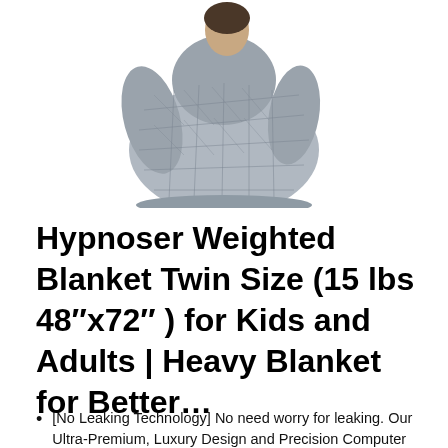[Figure (photo): A person wrapped in a gray quilted weighted blanket, shown from the shoulders down, holding/bundling the blanket around themselves against a white background.]
Hypnoser Weighted Blanket Twin Size (15 lbs 48″x72″ ) for Kids and Adults | Heavy Blanket for Better…
[No Leaking Technology] No need worry for leaking. Our Ultra-Premium, Luxury Design and Precision Computer